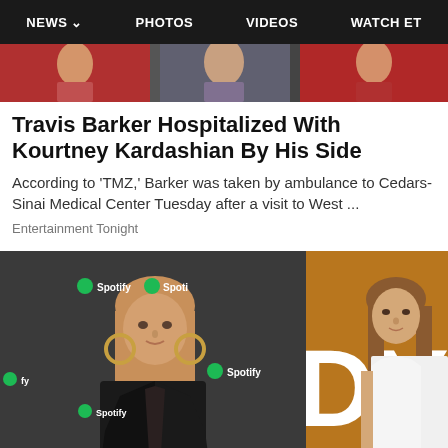NEWS  PHOTOS  VIDEOS  WATCH ET
[Figure (photo): Top strip of colorful celebrity photos partially visible]
Travis Barker Hospitalized With Kourtney Kardashian By His Side
According to 'TMZ,' Barker was taken by ambulance to Cedars-Sinai Medical Center Tuesday after a visit to West ...
Entertainment Tonight
[Figure (photo): Woman in black blazer at Spotify event with large hoop earrings, blonde hair]
[Figure (photo): Partial view of woman in white top against brown background with partial text 'DY']
Ashlee Simpson's Photos of 10 Years ...  Anelle Flet...